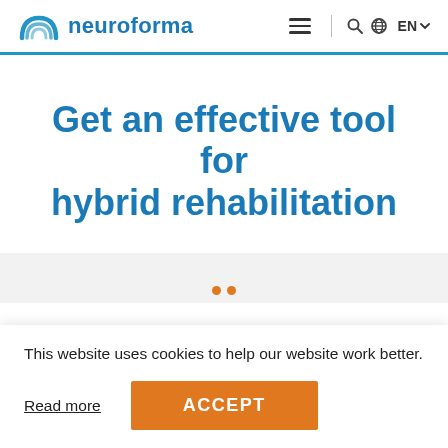neuroforma  EN
Get an effective tool for hybrid rehabilitation
This website uses cookies to help our website work better.
Read more
ACCEPT